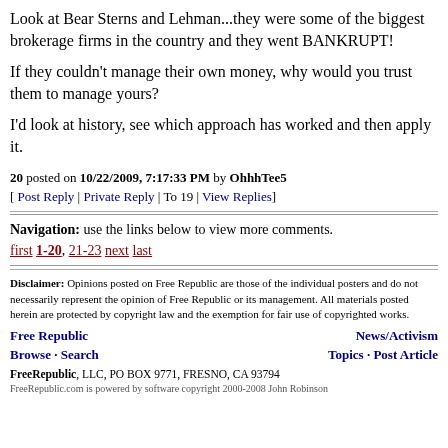Look at Bear Sterns and Lehman...they were some of the biggest brokerage firms in the country and they went BANKRUPT!
If they couldn't manage their own money, why would you trust them to manage yours?
I'd look at history, see which approach has worked and then apply it.
20 posted on 10/22/2009, 7:17:33 PM by OhhhTee5
[ Post Reply | Private Reply | To 19 | View Replies]
Navigation: use the links below to view more comments.
first 1-20, 21-23 next last
Disclaimer: Opinions posted on Free Republic are those of the individual posters and do not necessarily represent the opinion of Free Republic or its management. All materials posted herein are protected by copyright law and the exemption for fair use of copyrighted works.
Free Republic   News/Activism
Browse · Search   Topics · Post Article
FreeRepublic, LLC, PO BOX 9771, FRESNO, CA 93794
FreeRepublic.com is powered by software copyright 2000-2008 John Robinson